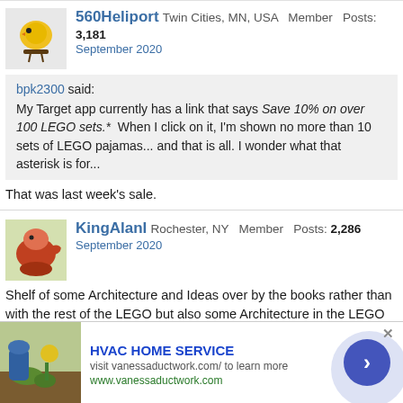560Heliport  Twin Cities, MN, USA  Member  Posts: 3,181  September 2020
bpk2300 said: My Target app currently has a link that says Save 10% on over 100 LEGO sets.*  When I click on it, I'm shown no more than 10 sets of LEGO pajamas... and that is all. I wonder what that asterisk is for...
That was last week's sale.
KingAlanI  Rochester, NY  Member  Posts: 2,286  September 2020
Shelf of some Architecture and Ideas over by the books rather than with the rest of the LEGO but also some Architecture in the LEGO aisle
#41428 in regular section might be nice if it was on sale and if I ever develop my beach layout (I often put minidoll sets with thematically similar minifigure
HVAC HOME SERVICE  visit vanessaductwork.com/ to learn more  www.vanessaductwork.com